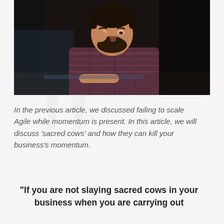[Figure (photo): A young man with dark hair and beard, wearing a plaid shirt, resting his head on his hand in a pensive or stressed pose, photographed in a dark setting against a dark background.]
In the previous article, we discussed failing to scale Agile while momentum is present. In this article, we will discuss ‘sacred cows’ and how they can kill your business’s momentum.
“If you are not slaying sacred cows in your business when you are carrying out